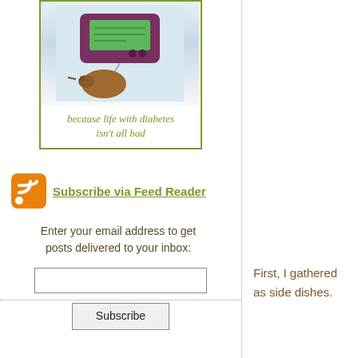[Figure (photo): Blog badge image showing a medical device (insulin pump or glucose monitor) with a small brown bird figurine, inside a green-bordered box with italic text 'because life with diabetes isn't all bad']
because life with diabetes isn't all bad
[Figure (logo): Orange RSS feed icon]
Subscribe via Feed Reader
Enter your email address to get posts delivered to your inbox:
Subscribe
First, I gathered as side dishes.